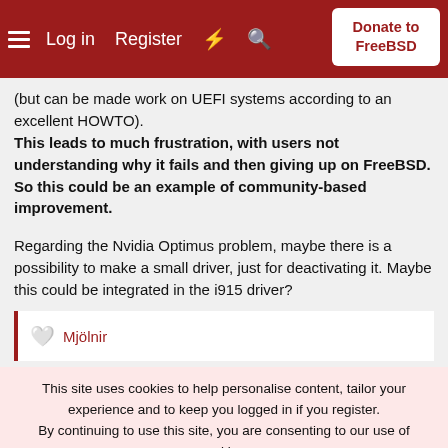Log in  Register  Donate to FreeBSD
(but can be made work on UEFI systems according to an excellent HOWTO). This leads to much frustration, with users not understanding why it fails and then giving up on FreeBSD. So this could be an example of community-based improvement.
Regarding the Nvidia Optimus problem, maybe there is a possibility to make a small driver, just for deactivating it. Maybe this could be integrated in the i915 driver?
Mjölnir
This site uses cookies to help personalise content, tailor your experience and to keep you logged in if you register.
By continuing to use this site, you are consenting to our use of cookies.
Accept  Learn more...